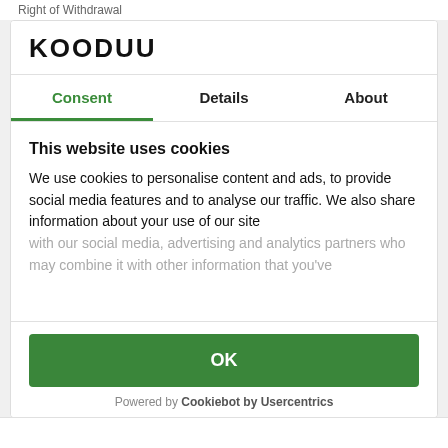Right of Withdrawal
KOODUU
Consent	Details	About
This website uses cookies
We use cookies to personalise content and ads, to provide social media features and to analyse our traffic. We also share information about your use of our site with our social media, advertising and analytics partners who may combine it with other information that you've
OK
Powered by Cookiebot by Usercentrics